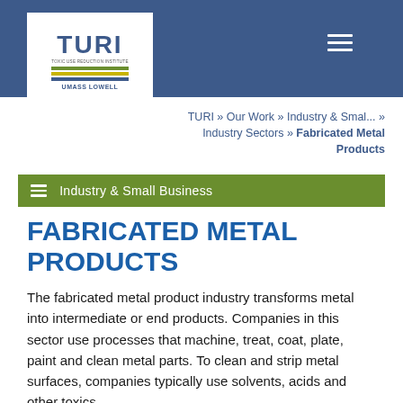[Figure (logo): TURI (Toxic Use Reduction Institute) logo with UMass Lowell branding, colorful horizontal stripes, on white background within blue header]
TURI » Our Work » Industry & Smal... » Industry Sectors » Fabricated Metal Products
Industry & Small Business
FABRICATED METAL PRODUCTS
The fabricated metal product industry transforms metal into intermediate or end products. Companies in this sector use processes that machine, treat, coat, plate, paint and clean metal parts. To clean and strip metal surfaces, companies typically use solvents, acids and other toxics.